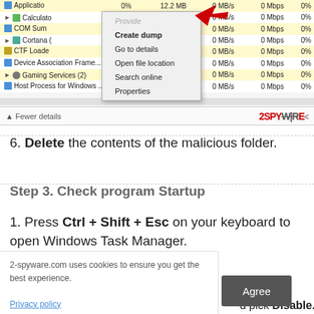[Figure (screenshot): Windows Task Manager showing a context menu with options: Provide feedback, Create dump, Go to details, Open file location, Search online, Properties. A red arrow points to the menu. Rows show processes: Applicatio, Calculato, COM Sum, Cortana, CTF Loade, Device Association Frame, Gaming Services (2), Host Process for Windows. Columns show CPU %, Memory (MB), Disk (MB/s), Network (Mbps), GPU %. A '2SPYWARE' logo and 'Fewer details' button appear at the bottom.]
6. Delete the contents of the malicious folder.
Step 3. Check program Startup
1. Press Ctrl + Shift + Esc on your keyboard to open Windows Task Manager.
2-spyware.com uses cookies to ensure you get the best experience.
Privacy policy
Agree
d pick Disable.